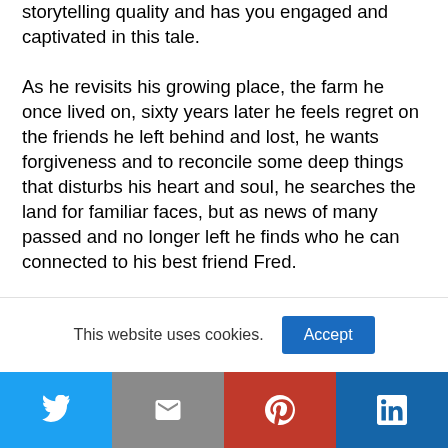storytelling quality and has you engaged and captivated in this tale. As he revisits his growing place, the farm he once lived on, sixty years later he feels regret on the friends he left behind and lost, he wants forgiveness and to reconcile some deep things that disturbs his heart and soul, he searches the land for familiar faces, but as news of many passed and no longer left he finds who he can connected to his best friend Fred.

He narrates in the first person those bygone days
This website uses cookies.
Accept